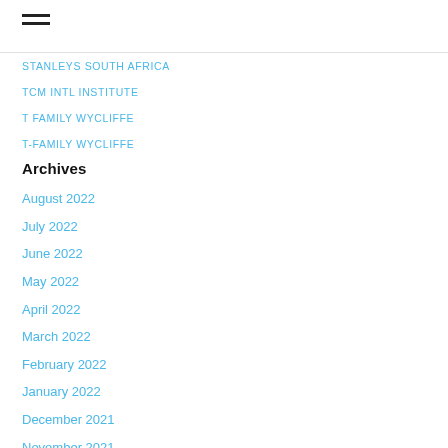STANLEYS SOUTH AFRICA
TCM INTL INSTITUTE
T FAMILY WYCLIFFE
T-FAMILY WYCLIFFE
Archives
August 2022
July 2022
June 2022
May 2022
April 2022
March 2022
February 2022
January 2022
December 2021
November 2021
October 2021
September 2021